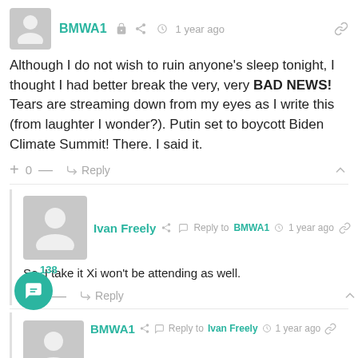BMWA1 · 1 year ago
Although I do not wish to ruin anyone's sleep tonight, I thought I had better break the very, very BAD NEWS! Tears are streaming down from my eyes as I write this (from laughter I wonder?). Putin set to boycott Biden Climate Summit! There. I said it.
+ 0 — Reply
Ivan Freely · Reply to BMWA1 · 1 year ago
So, I take it Xi won't be attending as well.
+ 0 — Reply
138
BMWA1 · Reply to Ivan Freely · 1 year ago
Best if NOBODY shows! JDK about Xi, though...